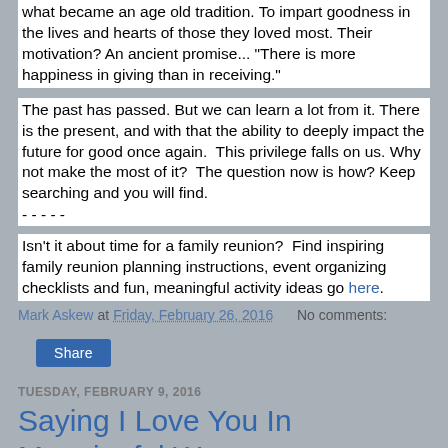what became an age old tradition. To impart goodness in the lives and hearts of those they loved most. Their motivation? An ancient promise... "There is more happiness in giving than in receiving."
The past has passed. But we can learn a lot from it. There is the present, and with that the ability to deeply impact the future for good once again.  This privilege falls on us. Why not make the most of it?  The question now is how? Keep searching and you will find.
- - - - -
Isn't it about time for a family reunion?  Find inspiring family reunion planning instructions, event organizing checklists and fun, meaningful activity ideas go here.
Mark Askew at Friday, February 26, 2016    No comments:
Share
TUESDAY, FEBRUARY 9, 2016
Saying I Love You In Meaningful Ways
Love is the most often searched word on Google with 3